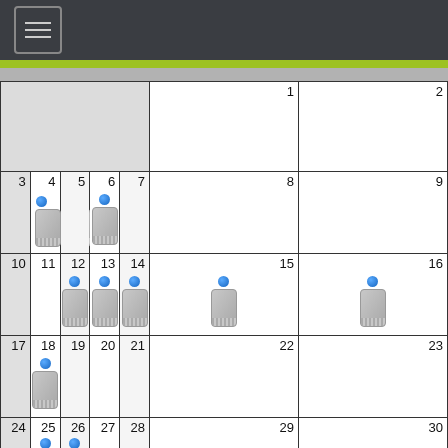[Figure (screenshot): Top navigation bar with dark background and hamburger menu icon]
[Figure (other): Calendar view showing a month with phone/event icons on days 4, 6, 12, 13, 14, 15, 16, 18, 25, 26]